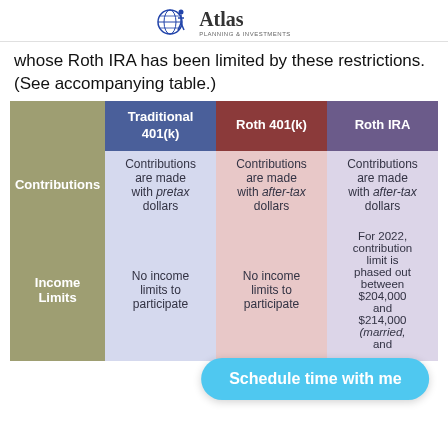Atlas Planning & Investments
whose Roth IRA has been limited by these restrictions. (See accompanying table.)
|  | Traditional 401(k) | Roth 401(k) | Roth IRA |
| --- | --- | --- | --- |
| Contributions | Contributions are made with pretax dollars | Contributions are made with after-tax dollars | Contributions are made with after-tax dollars |
| Income Limits | No income limits to participate | No income limits to participate | For 2022, contribution limit is phased out between $204,000 and $214,000 (married, filing jointly) and |
Schedule time with me